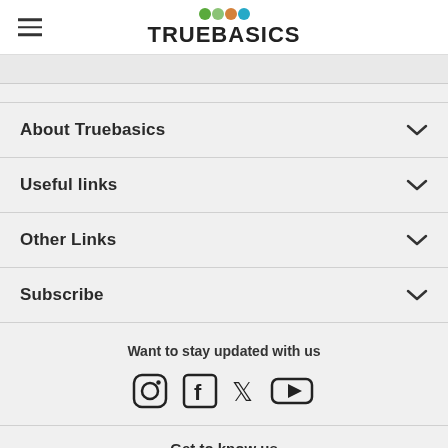TRUEBASICS
About Truebasics
Useful links
Other Links
Subscribe
Want to stay updated with us
[Figure (infographic): Social media icons: Instagram, Facebook, Twitter, YouTube]
Get to know us